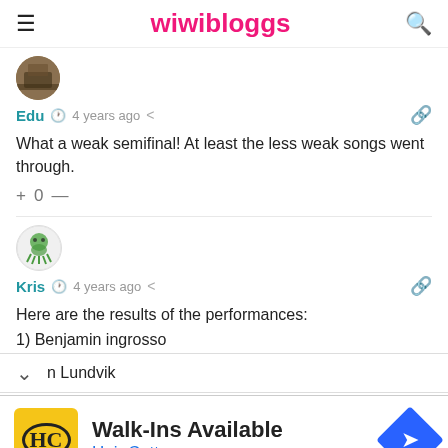wiwibloggs
[Figure (photo): Round avatar showing a building/city scene for user Edu]
Edu  4 years ago
What a weak semifinal! At least the less weak songs went through.
+ 0 —
[Figure (illustration): Round avatar showing a green octopus/creature illustration for user Kris]
Kris  4 years ago
Here are the results of the performances:
1) Benjamin ingrosso
n Lundvik
[Figure (infographic): Advertisement banner for Hair Cuttery: Walk-Ins Available with HC logo and navigation arrow icon]